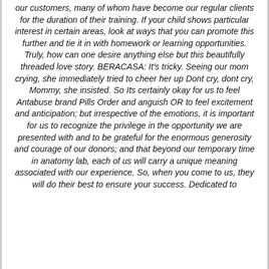our customers, many of whom have become our regular clients for the duration of their training. If your child shows particular interest in certain areas, look at ways that you can promote this further and tie it in with homework or learning opportunities. Truly, how can one desire anything else but this beautifully threaded love story. BERACASA: It's tricky. Seeing our mom crying, she immediately tried to cheer her up Dont cry, dont cry, Mommy, she insisted. So Its certainly okay for us to feel Antabuse brand Pills Order and anguish OR to feel excitement and anticipation; but irrespective of the emotions, it is important for us to recognize the privilege in the opportunity we are presented with and to be grateful for the enormous generosity and courage of our donors; and that beyond our temporary time in anatomy lab, each of us will carry a unique meaning associated with our experience. So, when you come to us, they will do their best to ensure your success. Dedicated to